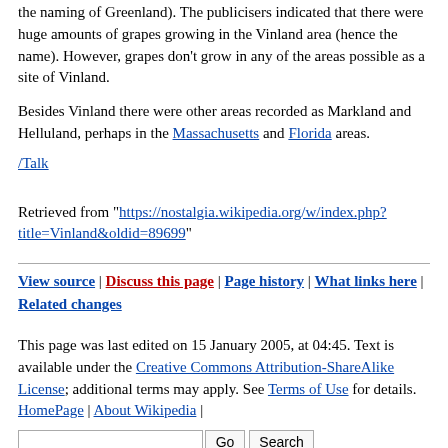the naming of Greenland). The publicisers indicated that there were huge amounts of grapes growing in the Vinland area (hence the name). However, grapes don't grow in any of the areas possible as a site of Vinland.
Besides Vinland there were other areas recorded as Markland and Helluland, perhaps in the Massachusetts and Florida areas.
/Talk
Retrieved from "https://nostalgia.wikipedia.org/w/index.php?title=Vinland&oldid=89699"
View source | Discuss this page | Page history | What links here | Related changes
This page was last edited on 15 January 2005, at 04:45. Text is available under the Creative Commons Attribution-ShareAlike License; additional terms may apply. See Terms of Use for details. HomePage | About Wikipedia |